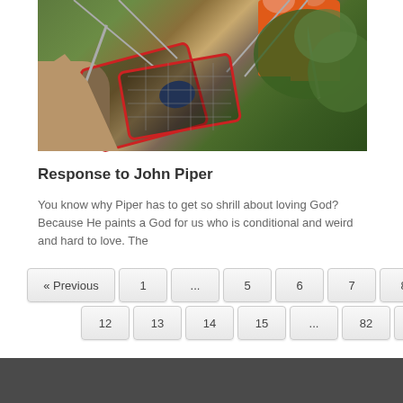[Figure (photo): A rescue operation on a rocky cliff face showing a person in an orange rescue uniform helping someone in a stretcher/basket suspended by ropes, with green trees visible in the background.]
Response to John Piper
You know why Piper has to get so shrill about loving God? Because He paints a God for us who is conditional and weird and hard to love. The
« Previous  1  ...  5  6  7  8  9  10  11  12  13  14  15  ...  82  Next »